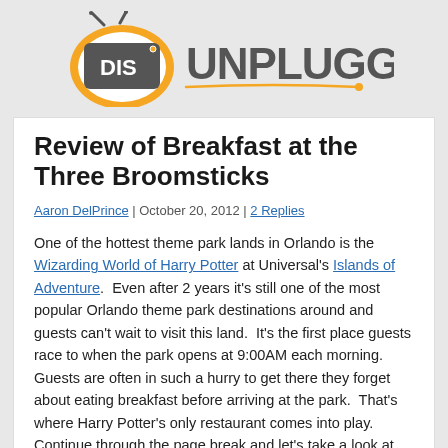[Figure (logo): DIS Unplugged logo with orange TV-shaped icon and bold dark gray 'UNPLUGGED' text]
Review of Breakfast at the Three Broomsticks
Aaron DelPrince | October 20, 2012 | 2 Replies
One of the hottest theme park lands in Orlando is the Wizarding World of Harry Potter at Universal's Islands of Adventure. Even after 2 years it's still one of the most popular Orlando theme park destinations around and guests can't wait to visit this land. It's the first place guests race to when the park opens at 9:00AM each morning. Guests are often in such a hurry to get there they forget about eating breakfast before arriving at the park. That's where Harry Potter's only restaurant comes into play. Continue through the page break and let's take a look at breakfast inside the Three Broomsticks